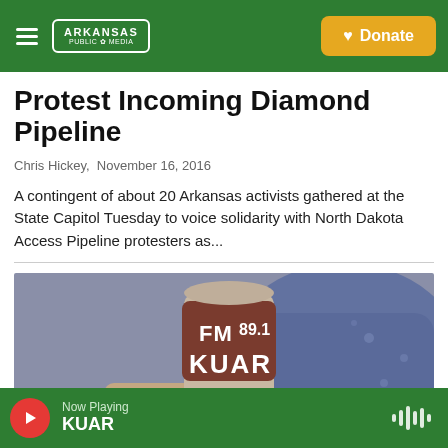Arkansas Public Media — Donate
Protest Incoming Diamond Pipeline
Chris Hickey,  November 16, 2016
A contingent of about 20 Arkansas activists gathered at the State Capitol Tuesday to voice solidarity with North Dakota Access Pipeline protesters as...
[Figure (photo): Close-up photo of a hand holding a microphone labeled FM 89.1 KUAR, with a person in blue in the background]
Now Playing KUAR